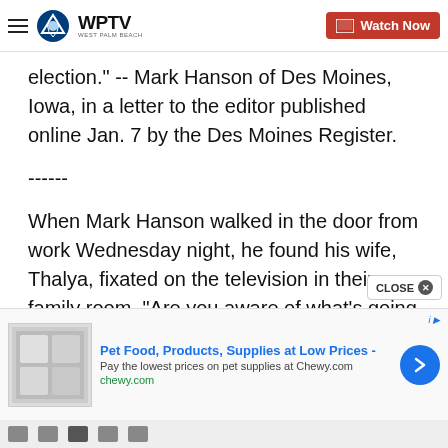WPTV West Palm Beach — Watch Now
election." -- Mark Hanson of Des Moines, Iowa, in a letter to the editor published online Jan. 7 by the Des Moines Register.
------
When Mark Hanson walked in the door from work Wednesday night, he found his wife, Thalya, fixated on the television in their family room. "Are you aware of what's going on?" she asked, the concern clear in her voice.
[Figure (screenshot): Advertisement banner: Pet Food, Products, Supplies at Low Prices - chewy.com with arrow button and product images]